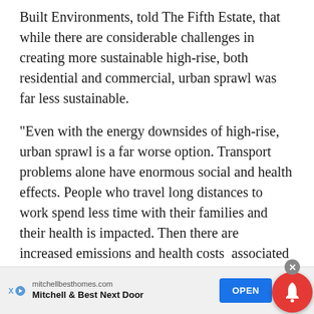Built Environments, told The Fifth Estate, that while there are considerable challenges in creating more sustainable high-rise, both residential and commercial, urban sprawl was far less sustainable.
“Even with the energy downsides of high-rise, urban sprawl is a far worse option. Transport problems alone have enormous social and health effects. People who travel long distances to work spend less time with their families and their health is impacted. Then there are increased emissions and health costs  associated with urban air quality,” says Prasad.
[Figure (other): Advertisement banner: mitchellbesthomes.com — Mitchell & Best Next Door, with OPEN button, ad icons (X and play arrow), a close button, and a red notification bell circle.]